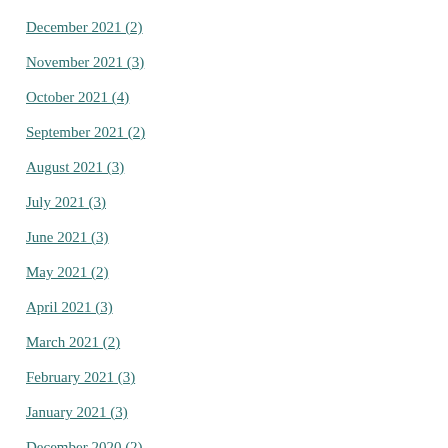December 2021 (2)
November 2021 (3)
October 2021 (4)
September 2021 (2)
August 2021 (3)
July 2021 (3)
June 2021 (3)
May 2021 (2)
April 2021 (3)
March 2021 (2)
February 2021 (3)
January 2021 (3)
December 2020 (2)
November 2020 (2)